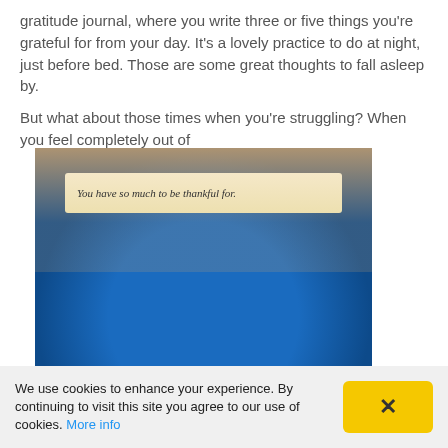gratitude journal, where you write three or five things you're grateful for from your day. It's a lovely practice to do at night, just before bed. Those are some great thoughts to fall asleep by.

But what about those times when you're struggling? When you feel completely out of
[Figure (photo): A person in a blue shirt holding up a fortune cookie slip that reads 'You have so much to be thankful for.' The photo has a dark border/background.]
We use cookies to enhance your experience. By continuing to visit this site you agree to our use of cookies. More info